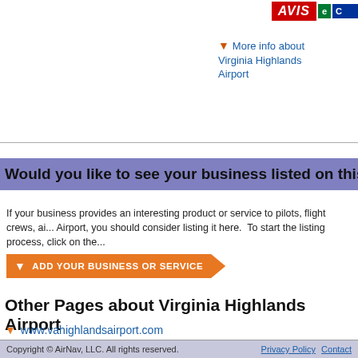[Figure (logo): AVIS logo (red), Enterprise logo (green), and partial blue logo at top right]
More info about Virginia Highlands Airport
Would you like to see your business listed on this page?
If your business provides an interesting product or service to pilots, flight crews, ai... Airport, you should consider listing it here.  To start the listing process, click on the...
Add Your Business or Service
Other Pages about Virginia Highlands Airport
www.vahighlandsairport.com
www.flyvirginia.com/...
Update, Remove or Add a Link
Copyright © AirNav, LLC. All rights reserved.    Privacy Policy  Contact